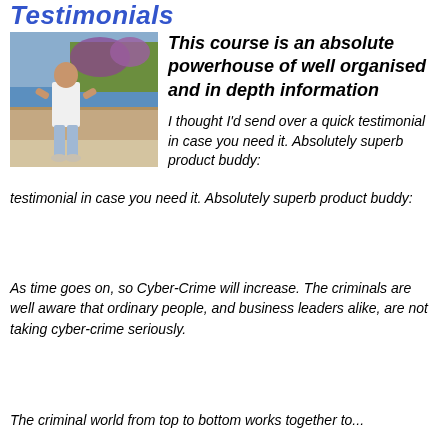Testimonials
[Figure (photo): A man in a white shirt and jeans standing outdoors on a terrace with Mediterranean scenery, flowers and sea in the background.]
This course is an absolute powerhouse of well organised and in depth information
I thought I'd send over a quick testimonial in case you need it. Absolutely superb product buddy:
As time goes on, so Cyber-Crime will increase. The criminals are well aware that ordinary people, and business leaders alike, are not taking cyber-crime seriously.
The criminal world from top to bottom works together to...